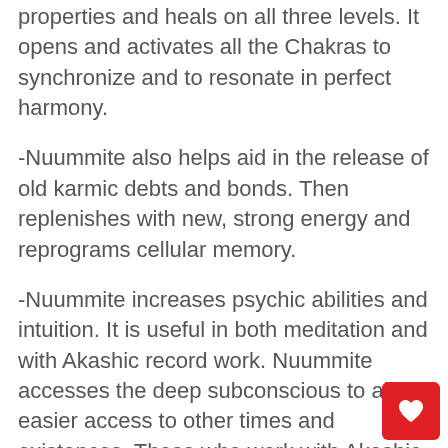properties and heals on all three levels. It opens and activates all the Chakras to synchronize and to resonate in perfect harmony.
-Nuummite also helps aid in the release of old karmic debts and bonds. Then replenishes with new, strong energy and reprograms cellular memory.
-Nuummite increases psychic abilities and intuition. It is useful in both meditation and with Akashic record work. Nuummite accesses the deep subconscious to allow easier access to other times and existences. Those who work with Akashic records and are reaching for the higher vibrations will find this gemstone helpful in